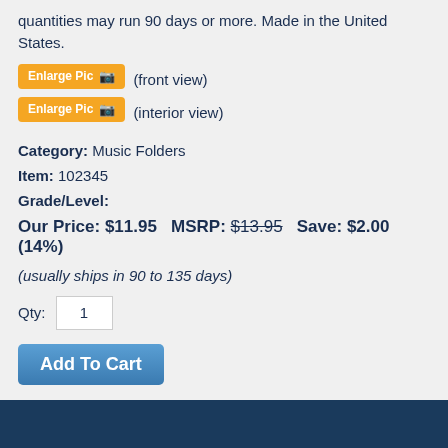quantities may run 90 days or more. Made in the United States.
[Figure (screenshot): Two orange 'Enlarge Pic' buttons with camera icons, labeled '(front view)' and '(interior view)']
Category: Music Folders
Item: 102345
Grade/Level:
Our Price: $11.95  MSRP: $13.95  Save: $2.00 (14%)
(usually ships in 90 to 135 days)
Qty: 1
Add To Cart
View Shopping Cart